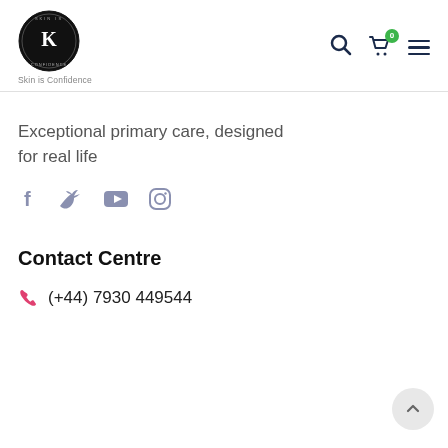[Figure (logo): Circular black logo with 'K' monogram and text around the border, with tagline 'Skin is Confidence' below]
Exceptional primary care, designed for real life
[Figure (infographic): Social media icons: Facebook, Twitter, YouTube, Instagram]
Contact Centre
(+44) 7930 449544